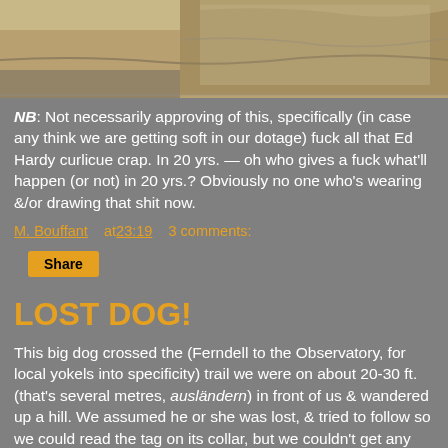[Figure (photo): Partial top image showing what appears to be an outdoor/ground scene, cropped at the top of the page]
NB: Not necessarily approving of this, specifically (in case any think we are getting soft in our dotage) fuck all that Ed Hardy curlicue crap. In 20 yrs. — oh who gives a fuck what'll happen (or not) in 20 yrs.? Obviously no one who's wearing &/or drawing that shit now.
M. Bouffant   at 23:19    3 comments:
Share
LOST DOG!
This big dog crossed the (Ferndell to the Observatory, for local yokels into specificity) trail we were on about 20-30 ft. (that's several metres, ausländern) in front of us & wandered up a hill. We assumed he or she was lost, & tried to follow so we could read the tag on its collar, but we couldn't get any closer than these mostly unfocused images.
[Figure (photo): Partial bottom image showing an outdoor nature/trail scene, partially cropped at the bottom of the page]